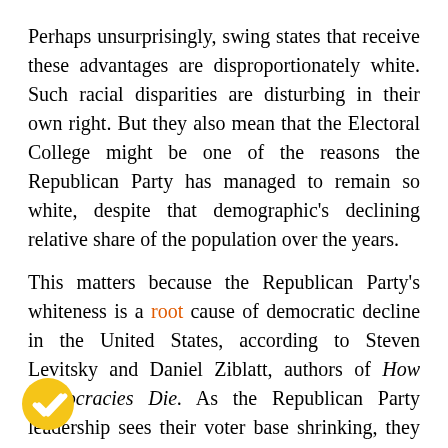Perhaps unsurprisingly, swing states that receive these advantages are disproportionately white. Such racial disparities are disturbing in their own right. But they also mean that the Electoral College might be one of the reasons the Republican Party has managed to remain so white, despite that demographic's declining relative share of the population over the years.
This matters because the Republican Party's whiteness is a root cause of democratic decline in the United States, according to Steven Levitsky and Daniel Ziblatt, authors of How Democracies Die. As the Republican Party leadership sees their voter base shrinking, they have found a strategic advantage in undermining majoritarian democracy in order to remain in power, rather than adjusting their political message to appeal beyond certain white populations. This translates